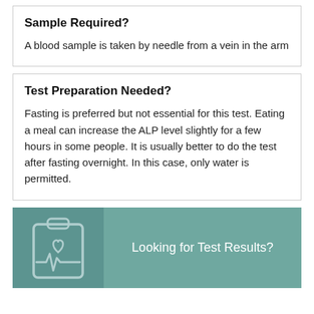Sample Required?
A blood sample is taken by needle from a vein in the arm
Test Preparation Needed?
Fasting is preferred but not essential for this test. Eating a meal can increase the ALP level slightly for a few hours in some people. It is usually better to do the test after fasting overnight. In this case, only water is permitted.
[Figure (illustration): Medical clipboard icon with heart and pulse line, in teal/grey outline style]
Looking for Test Results?